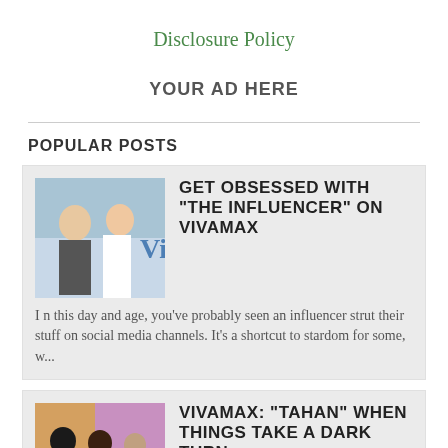Disclosure Policy
YOUR AD HERE
POPULAR POSTS
GET OBSESSED WITH "THE INFLUENCER" ON VIVAMAX
I n this day and age, you've probably seen an influencer strut their stuff on social media channels. It's a shortcut to stardom for some, w...
VIVAMAX: "TAHAN" WHEN THINGS TAKE A DARK TURN
W e went in the cinema of Gateway Mall for the